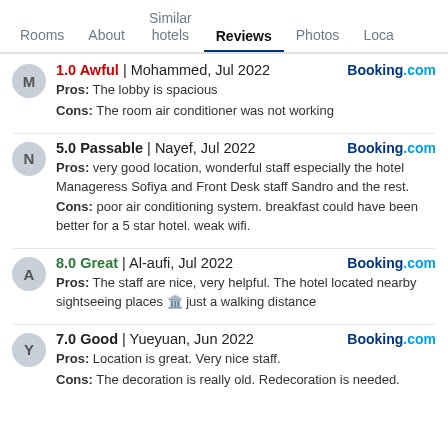Rooms | About | Similar hotels | Reviews | Photos | Loca
1.0 Awful | Mohammed, Jul 2022 — Booking.com
Pros: The lobby is spacious
Cons: The room air conditioner was not working
5.0 Passable | Nayef, Jul 2022 — Booking.com
Pros: very good location, wonderful staff especially the hotel Manageress Sofiya and Front Desk staff Sandro and the rest.
Cons: poor air conditioning system. breakfast could have been better for a 5 star hotel. weak wifi.
8.0 Great | Al-aufi, Jul 2022 — Booking.com
Pros: The staff are nice, very helpful. The hotel located nearby sightseeing places just a walking distance
7.0 Good | Yueyuan, Jun 2022 — Booking.com
Pros: Location is great. Very nice staff.
Cons: The decoration is really old. Redecoration is needed.